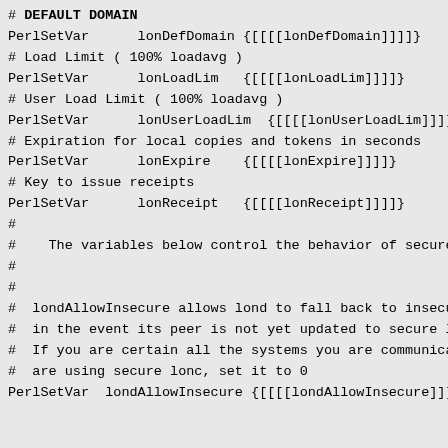# DEFAULT DOMAIN
PerlSetVar      lonDefDomain {[[[[lonDefDomain]]]]}
# Load Limit ( 100% loadavg )
PerlSetVar      lonLoadLim   {[[[[lonLoadLim]]]]}
# User Load Limit ( 100% loadavg )
PerlSetVar      lonUserLoadLim  {[[[[lonUserLoadLim]]]]
# Expiration for local copies and tokens in seconds
PerlSetVar      lonExpire    {[[[[lonExpire]]]]}
# Key to issue receipts
PerlSetVar      lonReceipt   {[[[[lonReceipt]]]]}
#
#    The variables below control the behavior of secure lo
#
#
#  londAllowInsecure allows lond to fall back to insecure
#  in the event its peer is not yet updated to secure lon
#  If you are certain all the systems you are communicati
#  are using secure lonc, set it to 0
PerlSetVar  londAllowInsecure {[[[[londAllowInsecure]]]]